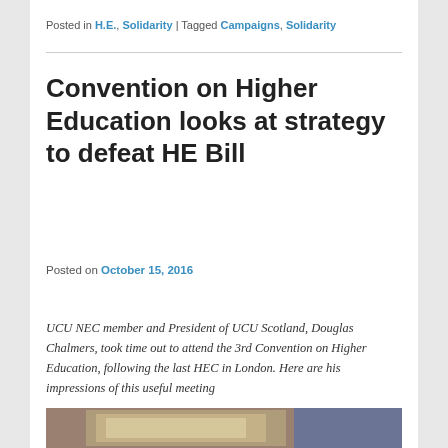Posted in H.E., Solidarity | Tagged Campaigns, Solidarity
Convention on Higher Education looks at strategy to defeat HE Bill
Posted on October 15, 2016
UCU NEC member and President of UCU Scotland, Douglas Chalmers, took time out to attend the 3rd Convention on Higher Education, following the last HEC in London. Here are his impressions of this useful meeting
[Figure (photo): Photograph from the Convention on Higher Education event]